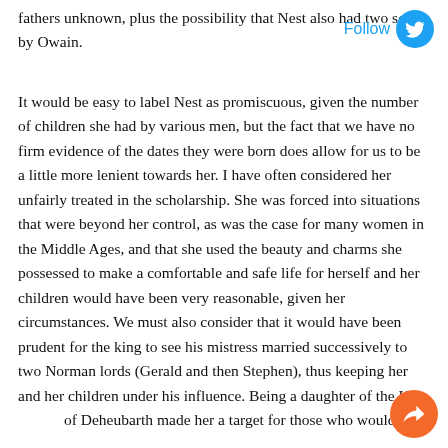fathers unknown, plus the possibility that Nest also had two sons by Owain.
It would be easy to label Nest as promiscuous, given the number of children she had by various men, but the fact that we have no firm evidence of the dates they were born does allow for us to be a little more lenient towards her. I have often considered her unfairly treated in the scholarship. She was forced into situations that were beyond her control, as was the case for many women in the Middle Ages, and that she used the beauty and charms she possessed to make a comfortable and safe life for herself and her children would have been very reasonable, given her circumstances. We must also consider that it would have been prudent for the king to see his mistress married successively to two Norman lords (Gerald and then Stephen), thus keeping her and her children under his influence. Being a daughter of the King of Deheubarth made her a target for those who would